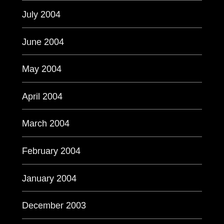July 2004
June 2004
May 2004
April 2004
March 2004
February 2004
January 2004
December 2003
November 2003
October 2003